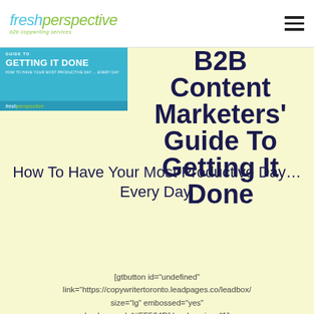freshperspective b2b copywriting services
[Figure (illustration): Book cover showing 'Getting It Done' title on teal background with Fresh Perspective branding]
B2B Content Marketers' Guide To Getting It Done
How To Have Your Most Productive Day… Every Day.
[gtbutton id="undefined" link="https://copywritertoronto.leadpages.co/leadbox/ size="lg" embossed="yes" background="#FF564D" border size="1"